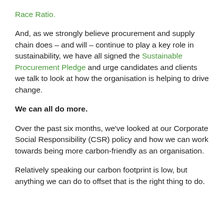Race Ratio.
And, as we strongly believe procurement and supply chain does – and will – continue to play a key role in sustainability, we have all signed the Sustainable Procurement Pledge and urge candidates and clients we talk to look at how the organisation is helping to drive change.
We can all do more.
Over the past six months, we've looked at our Corporate Social Responsibility (CSR) policy and how we can work towards being more carbon-friendly as an organisation.
Relatively speaking our carbon footprint is low, but anything we can do to offset that is the right thing to do.